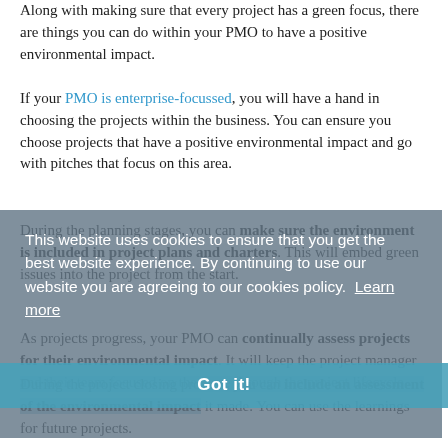Along with making sure that every project has a green focus, there are things you can do within your PMO to have a positive environmental impact.
If your PMO is enterprise-focussed, you will have a hand in choosing the projects within the business. You can ensure you choose projects that have a positive environmental impact and go with pitches that focus on this area.
During the planning stages, you can make sure the environment is included in project plans and charters. This will embed green issues into the project from the start.
As projects progress, your PMO can continually assess projects for their environmental impact. It will keep the project manager and their team focused on the issue through the project lifecycle.
During the project closing process, you can include an assessment of the environmental impact it made. You can use the learnings for future projects.